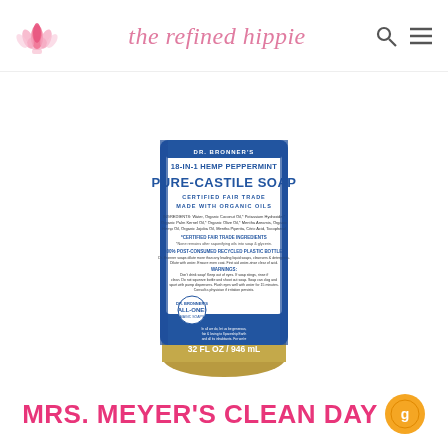the refined hippie — navigation header with logo, site title, search and menu icons
[Figure (photo): Dr. Bronner's 18-in-1 Hemp Peppermint Pure-Castile Soap bottle, 32 FL OZ / 946 mL, blue label with white text, certified fair trade, made with organic oils]
Mrs. MEYER'S CLEAN DAY